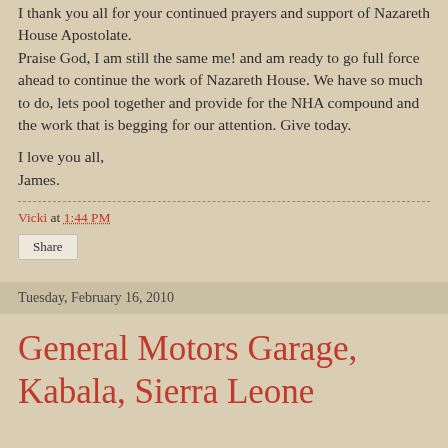I thank you all for your continued prayers and support of Nazareth House Apostolate. Praise God, I am still the same me! and am ready to go full force ahead to continue the work of Nazareth House. We have so much to do, lets pool together and provide for the NHA compound and the work that is begging for our attention. Give today.
I love you all,
James.
Vicki at 1:44 PM
Share
Tuesday, February 16, 2010
General Motors Garage, Kabala, Sierra Leone